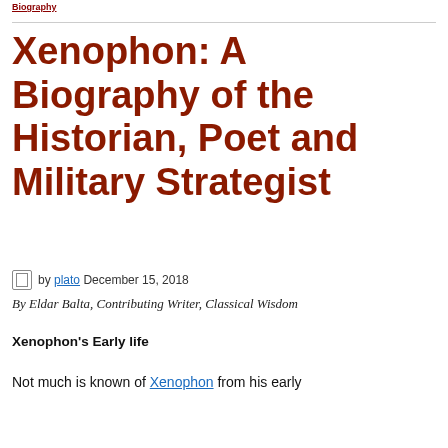Biography (link)
Xenophon: A Biography of the Historian, Poet and Military Strategist
by plato December 15, 2018
By Eldar Balta, Contributing Writer, Classical Wisdom
Xenophon's Early life
Not much is known of Xenophon from his early